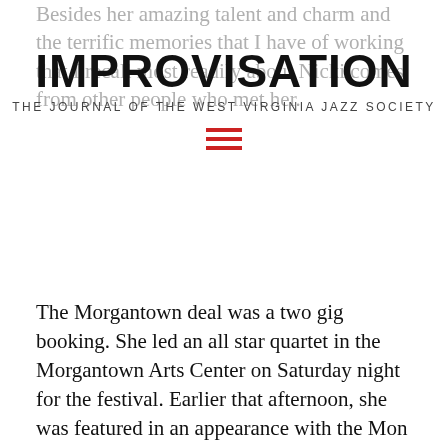Besides her amazing talent and charm and the terrific memories that I have of working that I recall most readily about Nicki comes from other people who met her.
IMPROVISATION
THE JOURNAL OF THE WEST VIRGINIA JAZZ SOCIETY
[Figure (other): Hamburger menu icon with three horizontal red lines]
The Morgantown deal was a two gig booking. She led an all star quartet in the Morgantown Arts Center on Saturday night for the festival. Earlier that afternoon, she was featured in an appearance with the Mon River Big Band in the McQuain Amphitheater.
Rehearsal for the Orchestra show was the night before in the Met Theater. Nicki had driven in from her Connecticut home to make it.
Now here is what I remember about Nicki.
Over a period of weeks after the show, I had occasion